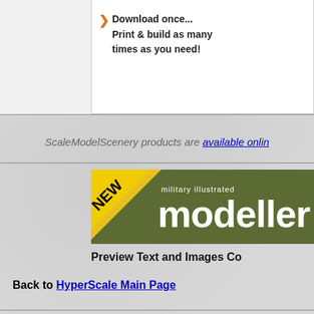[Figure (screenshot): Top banner showing download once, print and build text with orange arrow bullet]
ScaleModelScenery products are available online
[Figure (logo): Military Illustrated Modeller banner with NEW badge in yellow-black diagonal corner]
Preview Text and Images Co
Back to HyperScale Main Page